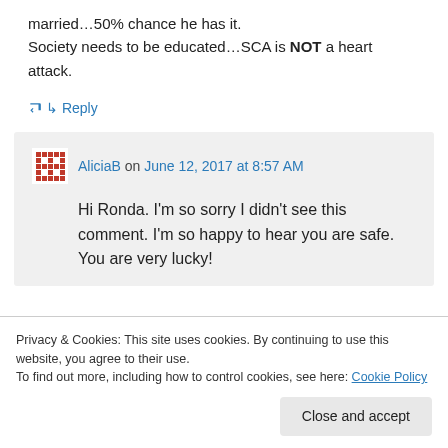married…50% chance he has it. Society needs to be educated…SCA is NOT a heart attack.
↳ Reply
AliciaB on June 12, 2017 at 8:57 AM
Hi Ronda. I'm so sorry I didn't see this comment. I'm so happy to hear you are safe. You are very lucky!
Privacy & Cookies: This site uses cookies. By continuing to use this website, you agree to their use. To find out more, including how to control cookies, see here: Cookie Policy
Close and accept